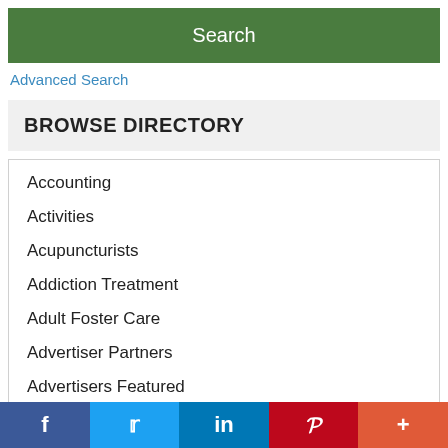Search
Advanced Search
BROWSE DIRECTORY
Accounting
Activities
Acupuncturists
Addiction Treatment
Adult Foster Care
Advertiser Partners
Advertisers Featured
Advertisers Promoted
Advertisers Showcased
f  Twitter  in  P  +